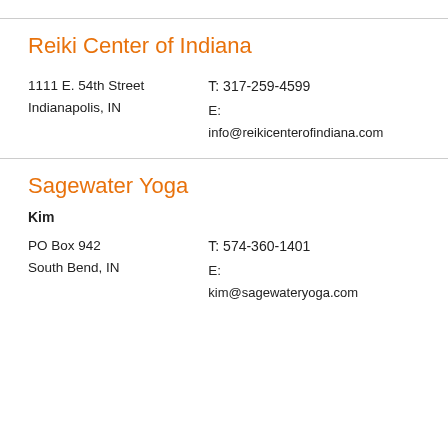Reiki Center of Indiana
1111 E. 54th Street
Indianapolis, IN
T: 317-259-4599
E:
info@reikicenterofindiana.com
Sagewater Yoga
Kim
PO Box 942
South Bend, IN
T: 574-360-1401
E:
kim@sagewateryoga.com